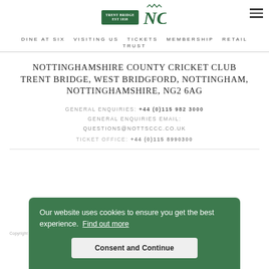[Figure (logo): Trent Bridge and Nottinghamshire County Cricket Club logos side by side]
DINE AT SIX  VISITING US  TICKETS  MEMBERSHIP  RETAIL  TRUST
NOTTINGHAMSHIRE COUNTY CRICKET CLUB TRENT BRIDGE, WEST BRIDGFORD, NOTTINGHAM, NOTTINGHAMSHIRE, NG2 6AG
GENERAL ENQUIRIES: +44 (0)115 982 3000
GENERAL ENQUIRIES EMAIL: QUESTIONS@NOTTSCCC.CO.UK
TICKET OFFICE: +44 (0)115 8990300
Our website uses cookies to ensure you get the best experience. Find out more
Consent and Continue
Copyright © 2020 | Company No: IPS 28978R | VAT Reg No: 117743861 | Design and development by threebit